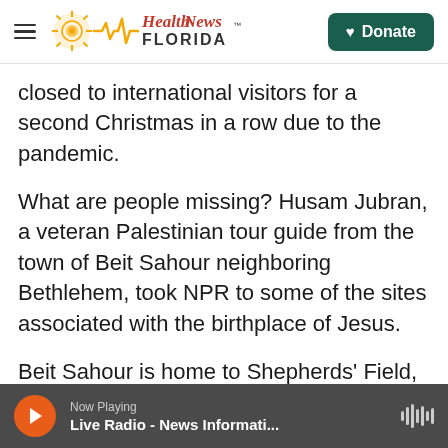Health News Florida
closed to international visitors for a second Christmas in a row due to the pandemic.
What are people missing? Husam Jubran, a veteran Palestinian tour guide from the town of Beit Sahour neighboring Bethlehem, took NPR to some of the sites associated with the birthplace of Jesus.
Beit Sahour is home to Shepherds' Field, a site venerated since Byzantine times as the spot where the Gospel of Luke says angels appeared to shepherds and announced Jesus' birth. Two other sites nearby also claim to be Shepherds' Field.
Now Playing — Live Radio - News Informati...